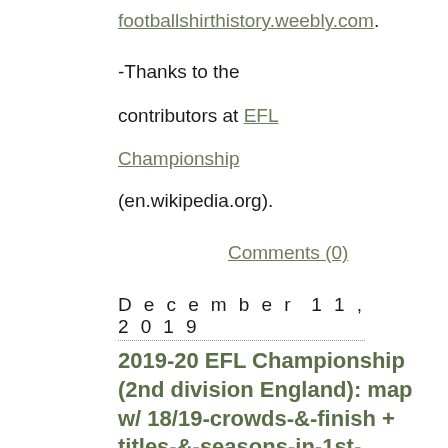footballshirthistory.weebly.com.
-Thanks to the contributors at EFL Championship (en.wikipedia.org).
Comments (0)
December 11, 2019
2019-20 EFL Championship (2nd division England): map w/ 18/19-crowds-&-finish + titles-&-seasons-in-1st-division./+ Top of the table